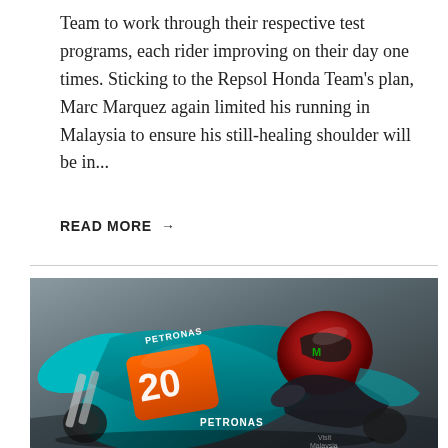Team to work through their respective test programs, each rider improving on their day one times. Sticking to the Repsol Honda Team's plan, Marc Marquez again limited his running in Malaysia to ensure his still-healing shoulder will be in...
READ MORE →
[Figure (photo): MotoGP rider on a Petronas Yamaha motorcycle (number 20), wearing a red and black helmet, leaning into a corner. The bike is teal/turquoise with Petronas branding and orange number 20. Background is blurred.]